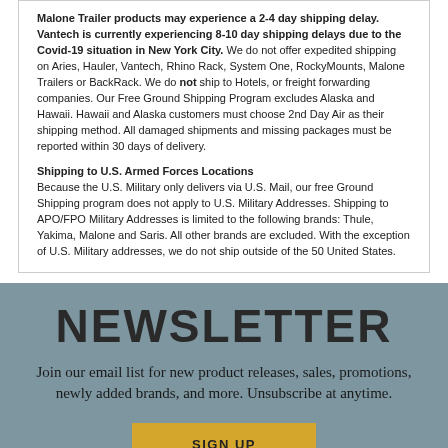Malone Trailer products may experience a 2-4 day shipping delay. Vantech is currently experiencing 8-10 day shipping delays due to the Covid-19 situation in New York City. We do not offer expedited shipping on Aries, Hauler, Vantech, Rhino Rack, System One, RockyMounts, Malone Trailers or BackRack. We do not ship to Hotels, or freight forwarding companies. Our Free Ground Shipping Program excludes Alaska and Hawaii. Hawaii and Alaska customers must choose 2nd Day Air as their shipping method. All damaged shipments and missing packages must be reported within 30 days of delivery.
Shipping to U.S. Armed Forces Locations
Because the U.S. Military only delivers via U.S. Mail, our free Ground Shipping program does not apply to U.S. Military Addresses. Shipping to APO/FPO Military Addresses is limited to the following brands: Thule, Yakima, Malone and Saris. All other brands are excluded. With the exception of U.S. Military addresses, we do not ship outside of the 50 United States.
NEWSLETTER
Join our email list for new product releases, sales, promotions, newly added brands, and more. Unsubscribe at anytime.
SIGN UP